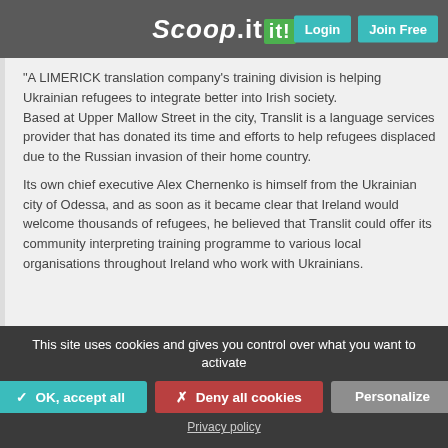Scoop it! Login Join Free
"A LIMERICK translation company's training division is helping Ukrainian refugees to integrate better into Irish society. Based at Upper Mallow Street in the city, Translit is a language services provider that has donated its time and efforts to help refugees displaced due to the Russian invasion of their home country.

Its own chief executive Alex Chernenko is himself from the Ukrainian city of Odessa, and as soon as it became clear that Ireland would welcome thousands of refugees, he believed that Translit could offer its community interpreting training programme to various local organisations throughout Ireland who work with Ukrainians.
This site uses cookies and gives you control over what you want to activate
✓ OK, accept all
✗ Deny all cookies
Personalize
Privacy policy